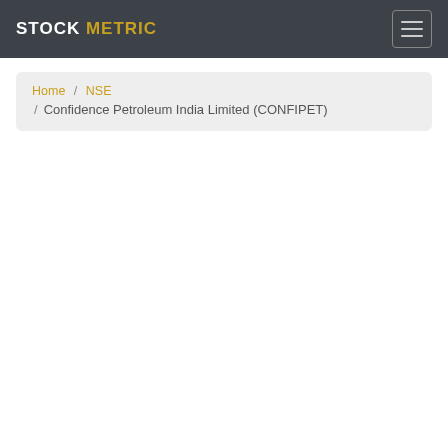STOCK METRIC
Home / NSE / Confidence Petroleum India Limited (CONFIPET)